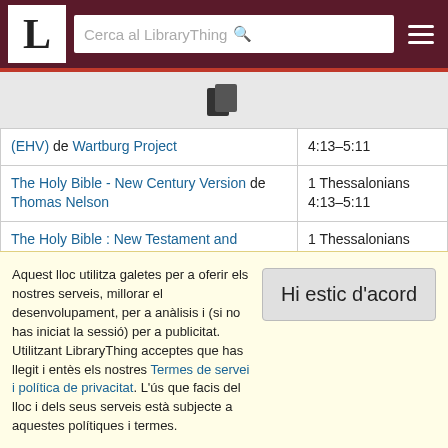LibraryThing - Cerca al LibraryThing
[Figure (logo): LibraryThing logo with letter L and search bar]
| Book | Reference |
| --- | --- |
| (EHV) de Wartburg Project | 4:13–5:11 |
| The Holy Bible - New Century Version de Thomas Nelson | 1 Thessalonians 4:13–5:11 |
| The Holy Bible : New Testament and Psalms, Evangelical Heritage Version | 1 Thessalonians 4:13–5:11 |
| The Holy Bible : Revised Standard Version | 1 |
Aquest lloc utilitza galetes per a oferir els nostres serveis, millorar el desenvolupament, per a anàlisis i (si no has iniciat la sessió) per a publicitat. Utilitzant LibraryThing acceptes que has llegit i entès els nostres Termes de servei i política de privacitat. L'ús que facis del lloc i dels seus serveis està subjecte a aquestes polítiques i termes.